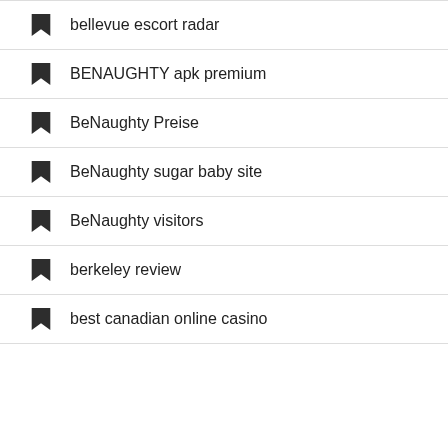bellevue escort radar
BENAUGHTY apk premium
BeNaughty Preise
BeNaughty sugar baby site
BeNaughty visitors
berkeley review
best canadian online casino